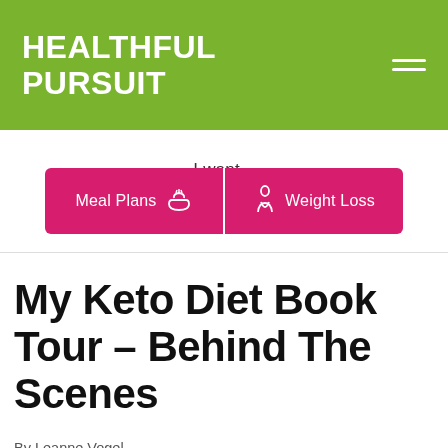HEALTHFUL PURSUIT
I want...
[Figure (infographic): Two pink call-to-action buttons side by side: 'Meal Plans' with a steaming bowl icon, and 'Weight Loss' with a body silhouette icon]
My Keto Diet Book Tour – Behind The Scenes
By Leanne Vogel